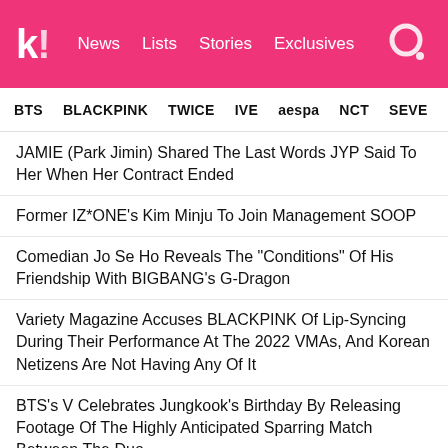kl! News Lists Stories Exclusives
BTS   BLACKPINK   TWICE   IVE   aespa   NCT   SEVE
JAMIE (Park Jimin) Shared The Last Words JYP Said To Her When Her Contract Ended
Former IZ*ONE's Kim Minju To Join Management SOOP
Comedian Jo Se Ho Reveals The "Conditions" Of His Friendship With BIGBANG's G-Dragon
Variety Magazine Accuses BLACKPINK Of Lip-Syncing During Their Performance At The 2022 VMAs, And Korean Netizens Are Not Having Any Of It
BTS's V Celebrates Jungkook's Birthday By Releasing Footage Of The Highly Anticipated Sparring Match Between The Duo
NEXT ARTICLE